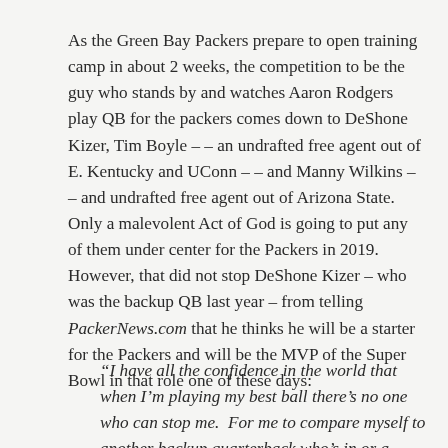As the Green Bay Packers prepare to open training camp in about 2 weeks, the competition to be the guy who stands by and watches Aaron Rodgers play QB for the packers comes down to DeShone Kizer, Tim Boyle – – an undrafted free agent out of E. Kentucky and UConn – – and Manny Wilkins – – and undrafted free agent out of Arizona State.  Only a malevolent Act of God is going to put any of them under center for the Packers in 2019.  However, that did not stop DeShone Kizer – who was the backup QB last year – from telling PackerNews.com that he thinks he will be a starter for the Packers and will be the MVP of the Super Bowl in that role one of these days:
“I have all the confidence in the world that when I’m playing my best ball there’s no one who can stop me.  For me to compare myself to another backup quarterback who’s in or a